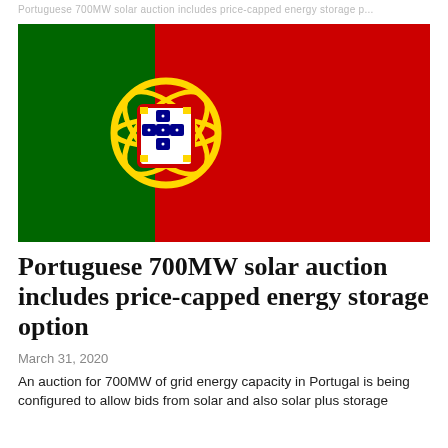Portuguese 700MW solar auction includes price-capped energy storage option
[Figure (illustration): Portuguese national flag — left third green, right two-thirds red, with the national coat of arms centered on the vertical dividing line. The coat of arms features a yellow armillary sphere, a white shield with five blue escutcheons in a cross pattern, and red border with castles.]
Portuguese 700MW solar auction includes price-capped energy storage option
March 31, 2020
An auction for 700MW of grid energy capacity in Portugal is being configured to allow bids from solar and also solar plus storage